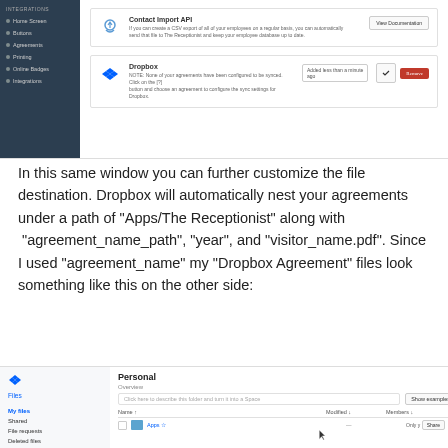[Figure (screenshot): Screenshot of a web application (The Receptionist) showing integrations page with Contact Import API and Dropbox integration options, with a dark sidebar on the left]
In this same window you can further customize the file destination. Dropbox will automatically nest your agreements under a path of "Apps/The Receptionist" along with  "agreement_name_path", "year", and "visitor_name.pdf". Since I used "agreement_name" my "Dropbox Agreement" files look something like this on the other side:
[Figure (screenshot): Screenshot of Dropbox file browser showing Personal account with Files section, My files navigation selected, and Apps folder listed in the file table with Share button]